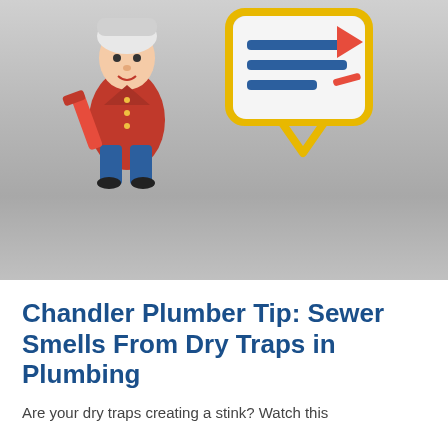[Figure (illustration): Blog post header image with a grey gradient background. On the left side is a cartoon illustration of an 18th-century style plumber character wearing a red coat, blue pants, and carrying a large red pipe wrench. On the right side is a yellow-outlined speech bubble / document icon with blue horizontal lines representing text and a red arrow/play button.]
Chandler Plumber Tip: Sewer Smells From Dry Traps in Plumbing
Are your dry traps creating a stink? Watch this